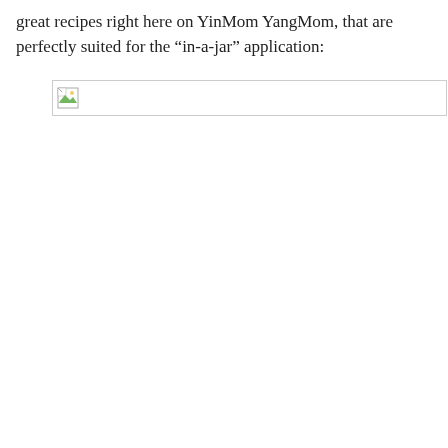great recipes right here on YinMom YangMom, that are perfectly suited for the “in-a-jar” application:
[Figure (photo): Broken/missing image placeholder shown as a small icon with a border box]